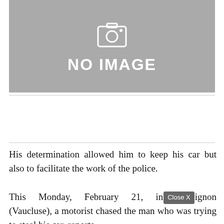[Figure (other): Gray placeholder box with camera icon and 'NO IMAGE' text]
His determination allowed him to keep his car but also to facilitate the work of the police.
This Monday, February 21, in Avignon (Vaucluse), a motorist chased the man who was trying to steal his car, reports